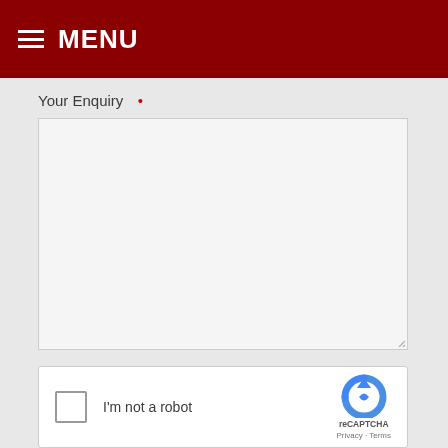MENU
Your Enquiry *
[Figure (screenshot): Empty textarea input field for enquiry text]
[Figure (screenshot): reCAPTCHA widget with checkbox labeled 'I'm not a robot', reCAPTCHA logo, Privacy and Terms links]
Submit